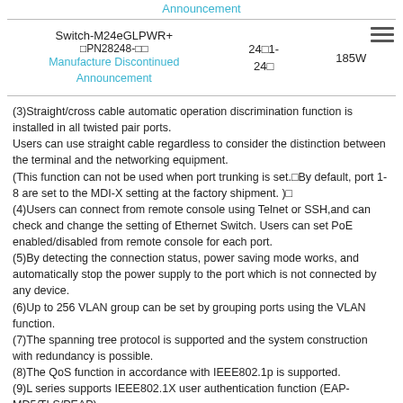Announcement
| Model/PN | Ports | PoE Budget |
| --- | --- | --- |
| Switch-M24eGLPWR+
□PN28248-□□
Manufacture Discontinued Announcement | 24□1-24□ | 185W |
(3)Straight/cross cable automatic operation discrimination function is installed in all twisted pair ports.
Users can use straight cable regardless to consider the distinction between the terminal and the networking equipment.
(This function can not be used when port trunking is set.□By default, port 1-8 are set to the MDI-X setting at the factory shipment. )□
(4)Users can connect from remote console using Telnet or SSH,and can check and change the setting of Ethernet Switch. Users can set PoE enabled/disabled from remote console for each port.
(5)By detecting the connection status, power saving mode works, and automatically stop the power supply to the port which is not connected by any device.
(6)Up to 256 VLAN group can be set by grouping ports using the VLAN function.
(7)The spanning tree protocol is supported and the system construction with redundancy is possible.
(8)The QoS function in accordance with IEEE802.1p is supported.
(9)L series supports IEEE802.1X user authentication function (EAP-MD5/TLS/PEAP).